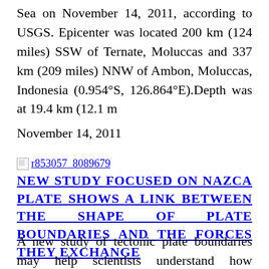Sea on November 14, 2011, according to USGS. Epicenter was located 200 km (124 miles) SSW of Ternate, Moluccas and 337 km (209 miles) NNW of Ambon, Moluccas, Indonesia (0.954°S, 126.864°E).Depth was at 19.4 km (12.1 m
November 14, 2011
[Figure (other): Broken image icon followed by link text r853057_8089679]
NEW STUDY FOCUSED ON NAZCA PLATE SHOWS A LINK BETWEEN THE SHAPE OF PLATE BOUNDARIES AND THE FORCES THEY EXCHANGE
A new study of tectonic plate boundaries may help scientists understand how earthquakes happen. The work by researchers including Dr